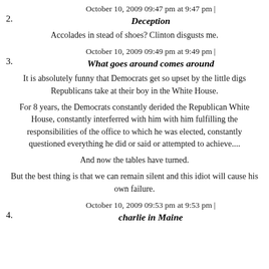October 10, 2009 09:47 pm at 9:47 pm | Deception
Accolades in stead of shoes? Clinton disgusts me.
October 10, 2009 09:49 pm at 9:49 pm | What goes around comes around
It is absolutely funny that Democrats get so upset by the little digs Republicans take at their boy in the White House.
For 8 years, the Democrats constantly derided the Republican White House, constantly interferred with him with him fulfilling the responsibilities of the office to which he was elected, constantly questioned everything he did or said or attempted to achieve....
And now the tables have turned.
But the best thing is that we can remain silent and this idiot will cause his own failure.
October 10, 2009 09:53 pm at 9:53 pm | charlie in Maine